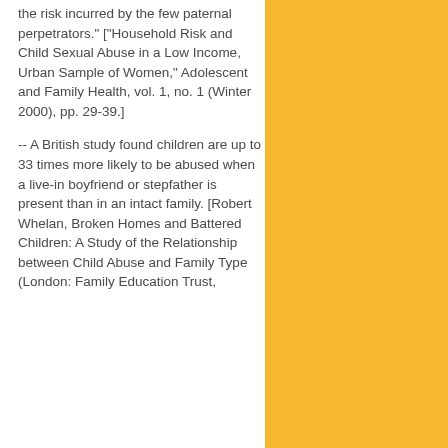the risk incurred by the few paternal perpetrators." ["Household Risk and Child Sexual Abuse in a Low Income, Urban Sample of Women," Adolescent and Family Health, vol. 1, no. 1 (Winter 2000), pp. 29-39.]
-- A British study found children are up to 33 times more likely to be abused when a live-in boyfriend or stepfather is present than in an intact family. [Robert Whelan, Broken Homes and Battered Children: A Study of the Relationship between Child Abuse and Family Type (London: Family Education Trust,